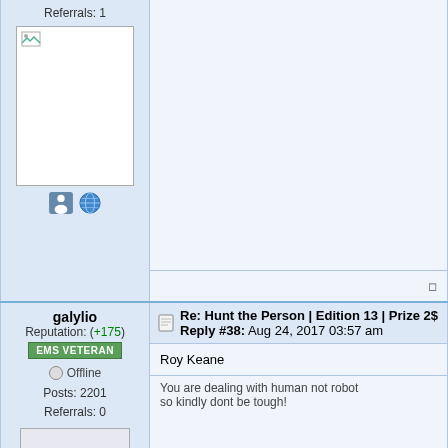Referrals: 1
[Figure (photo): Broken image placeholder in white box]
[Figure (illustration): Small person icon and globe icon]
galylio
Reputation: (+175)
EMS VETERAN
Offline
Posts: 2201
Referrals: 0
[Figure (illustration): Snowman smiley face with blue hat avatar]
[Figure (illustration): Small person/profile icon]
Re: Hunt the Person | Edition 13 | Prize 2$
Reply #38: Aug 24, 2017 03:57 am
Roy Keane
You are dealing with human not robot
so kindly dont be tough!
galylio
Re: Hunt the Person | Edition 13 | Prize 2$
Reply #39: Aug 24, 2017 05:03 am